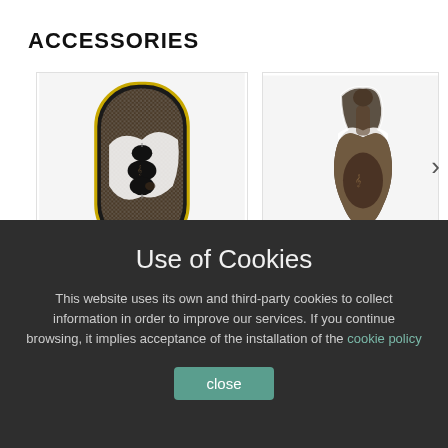ACCESSORIES
[Figure (illustration): Violin-shaped accessory/case with mosaic pattern, shown as a rounded rectangle with black border and gold trim, featuring a violin silhouette motif]
[Figure (illustration): Violin-shaped stand/display piece with mosaic pattern on a small base, violin silhouette on front]
Use of Cookies
This website uses its own and third-party cookies to collect information in order to improve our services. If you continue browsing, it implies acceptance of the installation of the cookie policy
close